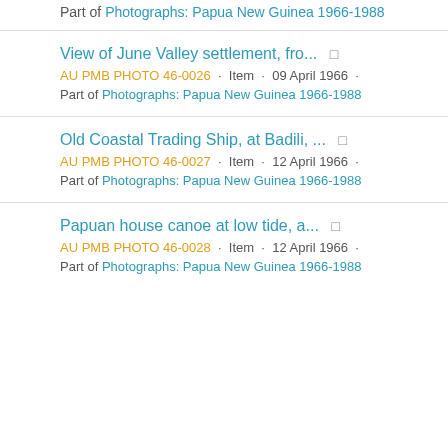Part of Photographs: Papua New Guinea 1966-1988
View of June Valley settlement, fro...
AU PMB PHOTO 46-0026 · Item · 09 April 1966 · Part of Photographs: Papua New Guinea 1966-1988
Old Coastal Trading Ship, at Badili, ...
AU PMB PHOTO 46-0027 · Item · 12 April 1966 · Part of Photographs: Papua New Guinea 1966-1988
Papuan house canoe at low tide, a...
AU PMB PHOTO 46-0028 · Item · 12 April 1966 · Part of Photographs: Papua New Guinea 1966-1988